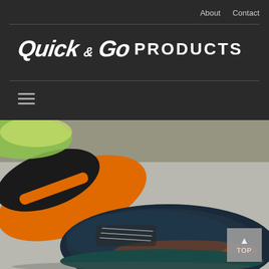About   Contact
Quick & Go PRODUCTS
[Figure (photo): Close-up photo of athletic running shoes on pavement — orange and black shoe sole visible on left, dark navy blue and orange mesh running shoe in foreground, blurred outdoor background]
TOP